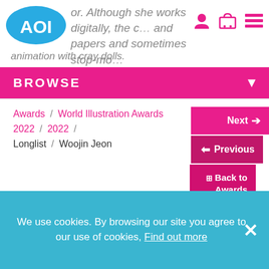[Figure (logo): AOI logo - blue oval with white AOI text]
or. Although she works digitally, the c... and papers and sometimes stop-mo... animation with cray dolls.
BROWSE
Awards / World Illustration Awards 2022 / 2022 / Longlist / Woojin Jeon
Next →
← Previous
⊞ Back to Awards List
We use cookies. By browsing our site you agree to our use of cookies, Find out more